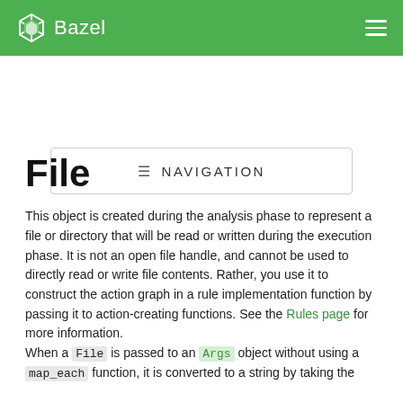Bazel
≡ NAVIGATION
File
This object is created during the analysis phase to represent a file or directory that will be read or written during the execution phase. It is not an open file handle, and cannot be used to directly read or write file contents. Rather, you use it to construct the action graph in a rule implementation function by passing it to action-creating functions. See the Rules page for more information.
When a File is passed to an Args object without using a map_each function, it is converted to a string by taking the